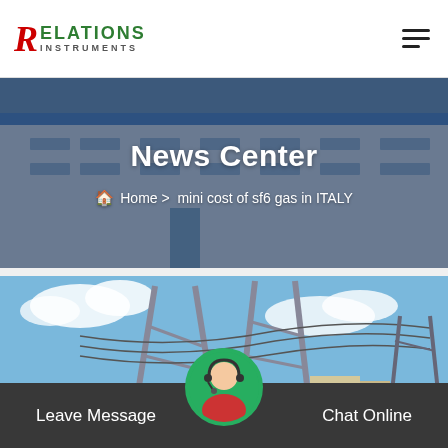RELATIONS INSTRUMENTS
News Center
Home > mini cost of sf6 gas in ITALY
[Figure (photo): Aerial view of an industrial factory building with blue roof, photographed from above, overlaid with a dark blue tint]
[Figure (photo): Outdoor electrical substation with tall metal pylons, power transmission towers, blue sky with clouds in the background]
Leave Message   Chat Online